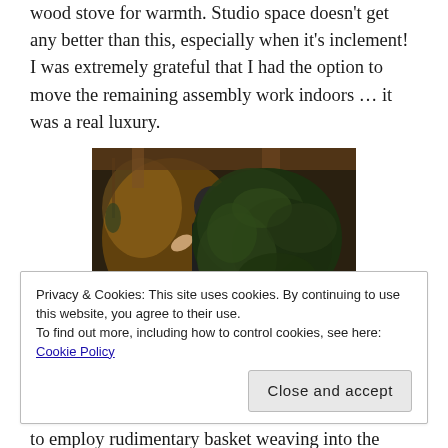wood stove for warmth. Studio space doesn't get any better than this, especially when it's inclement! I was extremely grateful that I had the option to move the remaining assembly work indoors … it was a real luxury.
[Figure (photo): Person working with large green foliage/plant material inside a wooden structure or barn, holding and arranging leafy branches.]
Privacy & Cookies: This site uses cookies. By continuing to use this website, you agree to their use.
To find out more, including how to control cookies, see here: Cookie Policy
to employ rudimentary basket weaving into the construction of